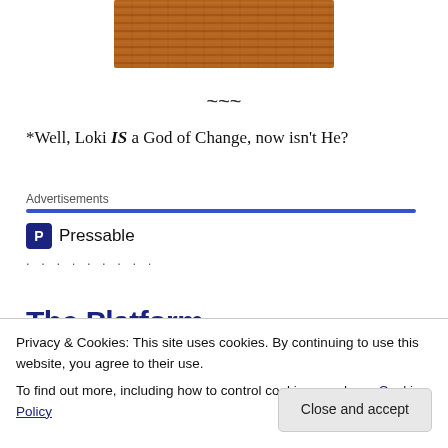[Figure (photo): Close-up photo of a rough brown/orange textured surface (possibly a doormat or natural fiber material), cropped to show only the top portion.]
~~~
*Well, Loki IS a God of Change, now isn’t He?
Advertisements
[Figure (logo): Pressable logo: dark blue square icon with letter P, followed by the word Pressable in dark text.]
. . . . . . . . .
The Platform
Privacy & Cookies: This site uses cookies. By continuing to use this website, you agree to their use.
To find out more, including how to control cookies, see here: Cookie Policy